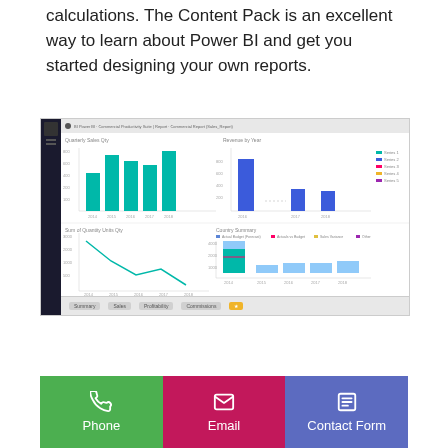calculations. The Content Pack is an excellent way to learn about Power BI and get you started designing your own reports.
[Figure (screenshot): A Power BI desktop screenshot showing multiple charts: teal bar charts on the left, blue bar charts on the right, a teal line chart on the lower left, and stacked bar charts on the lower right. Navigation tabs visible at the bottom.]
[Figure (infographic): Contact bar with three colored buttons: green Phone button with phone icon, pink/magenta Email button with envelope icon, and purple/indigo Contact Form button with list icon.]